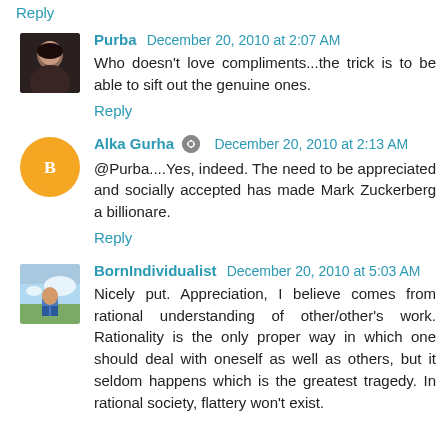Reply
Purba  December 20, 2010 at 2:07 AM
Who doesn't love compliments...the trick is to be able to sift out the genuine ones.
Reply
Alka Gurha  December 20, 2010 at 2:13 AM
@Purba....Yes, indeed. The need to be appreciated and socially accepted has made Mark Zuckerberg a billionare.
Reply
BornIndividualist  December 20, 2010 at 5:03 AM
Nicely put. Appreciation, I believe comes from rational understanding of other/other's work. Rationality is the only proper way in which one should deal with oneself as well as others, but it seldom happens which is the greatest tragedy. In rational society, flattery won't exist.